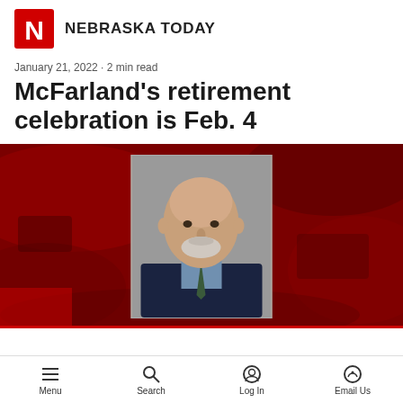NEBRASKA TODAY
January 21, 2022 · 2 min read
McFarland's retirement celebration is Feb. 4
[Figure (photo): Photo of McFarland (headshot of older bald man with beard, wearing suit and tie) centered on a red-tinted aerial campus background image]
Menu  Search  Log In  Email Us